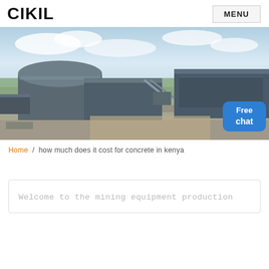CIKIL  MENU
[Figure (photo): Aerial view of a large industrial/mining equipment production facility with multiple large steel-roofed warehouse buildings, surrounding roads, and green landscape in the background. A 'Free chat' bubble with a customer service avatar is visible in the bottom-right corner.]
Home / how much does it cost for concrete in kenya
Welcome to the mining equipment production